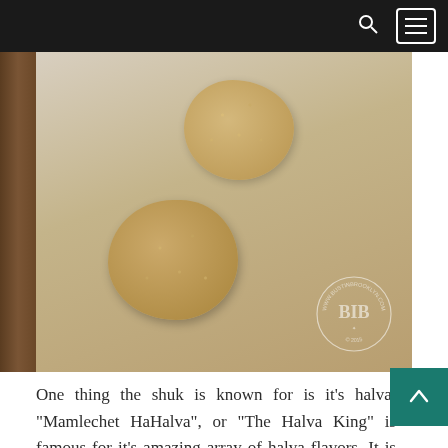navigation header with search and menu icons
[Figure (photo): Two rounded sesame-coated halva pieces on a light gray parchment surface, viewed from above. A circular watermark reading BUSTINBROOKLYN.COM 2015 is visible in the bottom right corner.]
One thing the shuk is known for is it's halva. "Mamlechet HaHalva", or "The Halva King" is famous for it's amazing array of halva flavors. It is so hard to pick a favorite but the